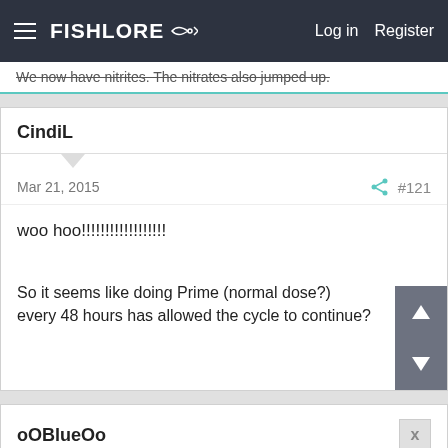FishLore  Log in  Register
We now have nitrites. The nitrates also jumped up.
CindiL
Mar 21, 2015  #121
woo hoo!!!!!!!!!!!!!!!!!!
So it seems like doing Prime (normal dose?) every 48 hours has allowed the cycle to continue?
oOBlueOo